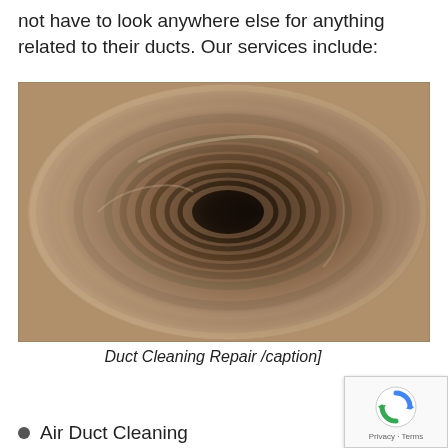not have to look anywhere else for anything related to their ducts. Our services include:
[Figure (photo): Close-up interior view of a heavily dust-clogged circular air duct, showing layers of grime and debris in a spiral pattern leading to a dark center opening.]
Duct Cleaning Repair /caption]
Air Duct Cleaning